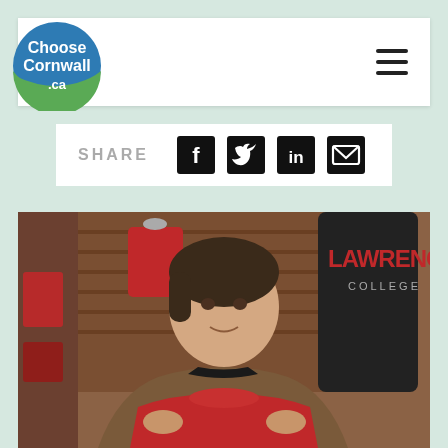[Figure (logo): Choose Cornwall .ca circular logo with blue top half and green bottom half, white text]
SHARE
[Figure (infographic): Social share icons: Facebook, Twitter, LinkedIn, Email]
[Figure (photo): Woman in a retail clothing store holding up a red St. Lawrence College t-shirt, with clothing racks and a dark St. Lawrence College hoodie visible in the background]